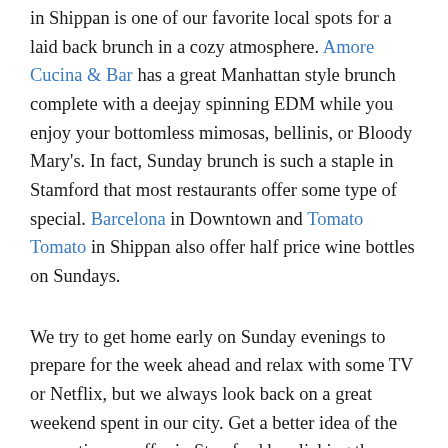in Shippan is one of our favorite local spots for a laid back brunch in a cozy atmosphere. Amore Cucina & Bar has a great Manhattan style brunch complete with a deejay spinning EDM while you enjoy your bottomless mimosas, bellinis, or Bloody Mary's. In fact, Sunday brunch is such a staple in Stamford that most restaurants offer some type of special. Barcelona in Downtown and Tomato Tomato in Shippan also offer half price wine bottles on Sundays.
We try to get home early on Sunday evenings to prepare for the week ahead and relax with some TV or Netflix, but we always look back on a great weekend spent in our city. Get a better idea of the properties we offer in Stamford by clicking the button below!